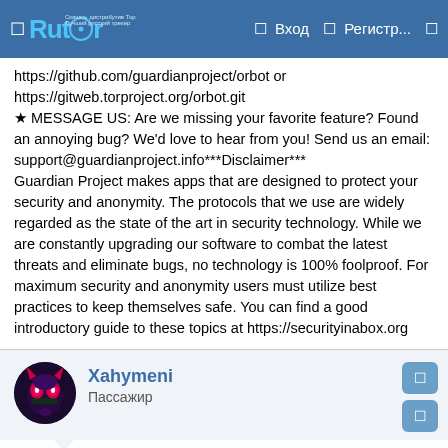Rutor | Вход | Регистр...
https://github.com/guardianproject/orbot or https://gitweb.torproject.org/orbot.git ★ MESSAGE US: Are we missing your favorite feature? Found an annoying bug? We'd love to hear from you! Send us an email: support@guardianproject.info***Disclaimer*** Guardian Project makes apps that are designed to protect your security and anonymity. The protocols that we use are widely regarded as the state of the art in security technology. While we are constantly upgrading our software to combat the latest threats and eliminate bugs, no technology is 100% foolproof. For maximum security and anonymity users must utilize best practices to keep themselves safe. You can find a good introductory guide to these topics at https://securityinabox.org
Xahymeni
Пассажир
23/05/2022  #5